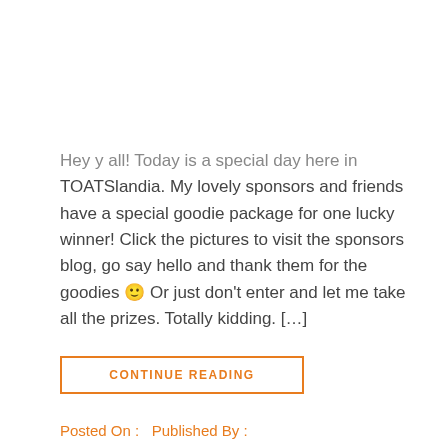Hey y all! Today is a special day here in TOATSlandia. My lovely sponsors and friends have a special goodie package for one lucky winner! Click the pictures to visit the sponsors blog, go say hello and thank them for the goodies 🙂 Or just don't enter and let me take all the prizes. Totally kidding. […]
CONTINUE READING
Posted On :   Published By :